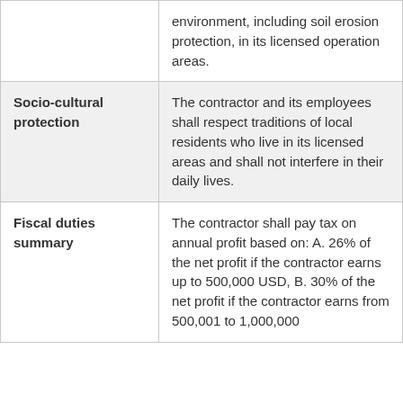|  | environment, including soil erosion protection, in its licensed operation areas. |
| Socio-cultural protection | The contractor and its employees shall respect traditions of local residents who live in its licensed areas and shall not interfere in their daily lives. |
| Fiscal duties summary | The contractor shall pay tax on annual profit based on: A. 26% of the net profit if the contractor earns up to 500,000 USD, B. 30% of the net profit if the contractor earns from 500,001 to 1,000,000 |